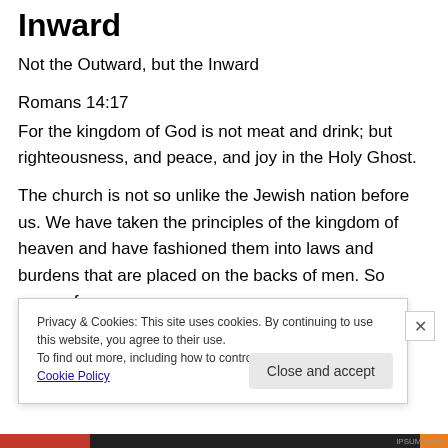Inward
Not the Outward, but the Inward
Romans 14:17
For the kingdom of God is not meat and drink; but righteousness, and peace, and joy in the Holy Ghost.
The church is not so unlike the Jewish nation before us. We have taken the principles of the kingdom of heaven and have fashioned them into laws and burdens that are placed on the backs of men. So many of our
Privacy & Cookies: This site uses cookies. By continuing to use this website, you agree to their use.
To find out more, including how to control cookies, see here: Cookie Policy
Close and accept